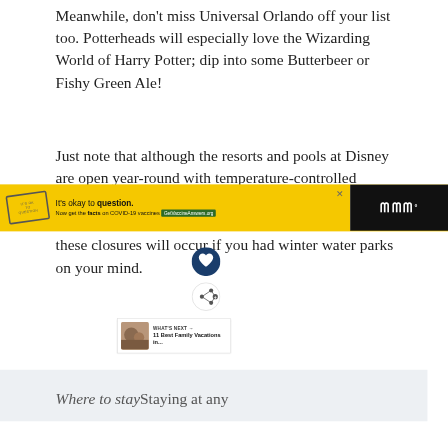Meanwhile, don't miss Universal Orlando off your list too. Potterheads will especially love the Wizarding World of Harry Potter; dip into some Butterbeer or Fishy Green Ale!
Just note that although the resorts and pools at Disney are open year-round with temperature-controlled water, they alternate closing the water parks for annual maintenance over winter. Check in advance when these closures will occur if you had winter water parks on your mind.
[Figure (other): Dark blue circular heart/like button icon and a white circular share button icon on the right side of the page]
WHAT'S NEXT → 11 Best Family Vacations in...
Where to stay Staying at any
[Figure (infographic): Advertisement banner: Yellow background with a stamp logo reading 'IT'S OK TO QUESTION', text: It's okay to question. Now get the facts on COVID-19 vaccines. GetVaccineAnswers.org button. Dark background on right side with a logo showing three vertical bars and a degree symbol.]